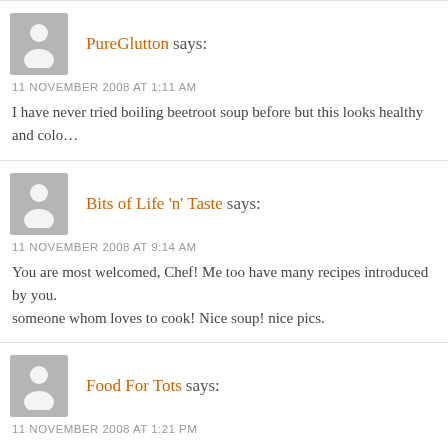PureGlutton says:
11 NOVEMBER 2008 AT 1:11 AM
I have never tried boiling beetroot soup before but this looks healthy and colo…
Bits of Life 'n' Taste says:
11 NOVEMBER 2008 AT 9:14 AM
You are most welcomed, Chef! Me too have many recipes introduced by you. someone whom loves to cook! Nice soup! nice pics.
Food For Tots says:
11 NOVEMBER 2008 AT 1:21 PM